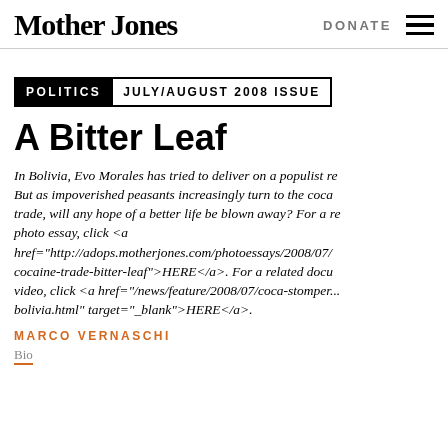Mother Jones | DONATE ☰
POLITICS  JULY/AUGUST 2008 ISSUE
A Bitter Leaf
In Bolivia, Evo Morales has tried to deliver on a populist rev... But as impoverished peasants increasingly turn to the coca trade, will any hope of a better life be blown away? For a re... photo essay, click <a href="http://adops.motherjones.com/photoessays/2008/07/cocaine-trade-bitter-leaf">HERE</a>. For a related docu... video, click <a href="/news/feature/2008/07/coca-stomper... bolivia.html" target="_blank">HERE</a>.
MARCO VERNASCHI
Bio